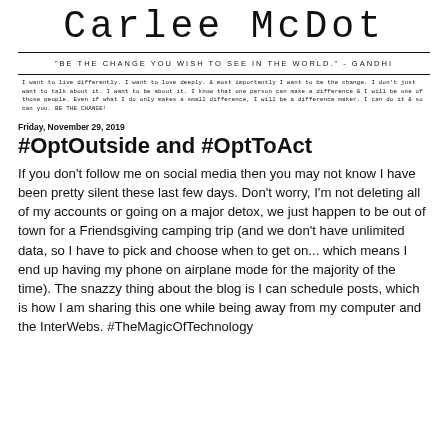Carlee McDot
"BE THE CHANGE YOU WISH TO SEE IN THE WORLD." - GANDHI
I want to live differently. I want to love deeply. & most importantly I want to be the change. I don't just want to talk about it. I want to be about it. I know that one person can make a difference & I will be one of those people. Even if what I do only makes a small difference, I will be a difference maker. I can do it & so can you. BE THE CHANGE!
Friday, November 29, 2019
#OptOutside and #OptToAct
If you don't follow me on social media then you may not know I have been pretty silent these last few days. Don't worry, I'm not deleting all of my accounts or going on a major detox, we just happen to be out of town for a Friendsgiving camping trip (and we don't have unlimited data, so I have to pick and choose when to get on... which means I end up having my phone on airplane mode for the majority of the time). The snazzy thing about the blog is I can schedule posts, which is how I am sharing this one while being away from my computer and the InterWebs. #TheMagicOfTechnology